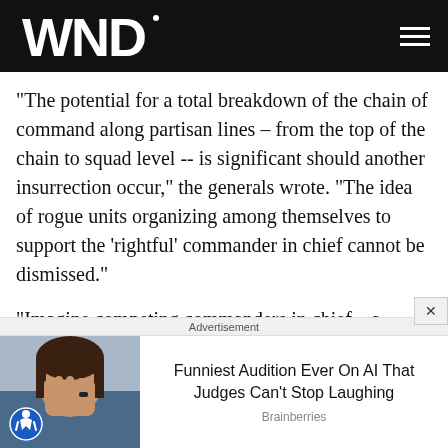WND
"The potential for a total breakdown of the chain of command along partisan lines – from the top of the chain to squad level -- is significant should another insurrection occur," the generals wrote. "The idea of rogue units organizing among themselves to support the 'rightful' commander in chief cannot be dismissed."
"Imagine competing commanders in chief – a newly reelected Biden giving orders, versus Trump (or another Trumpian figure) issuing orders as the head of a shadow
Advertisement
[Figure (photo): Woman with hand over face laughing, with accessibility icon overlay]
Funniest Audition Ever On AI That Judges Can't Stop Laughing
Brainberries